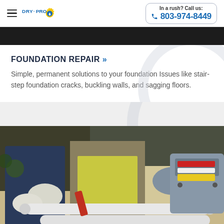DRY·PRO | In a rush? Call us: 803-974-8449
[Figure (photo): Dark banner image at top of page, cropped view of a dark background]
FOUNDATION REPAIR »
Simple, permanent solutions to your foundation Issues like stair-step foundation cracks, buckling walls, and sagging floors.
[Figure (photo): Workers in gloves and safety vests working with white pipes and industrial equipment outdoors]